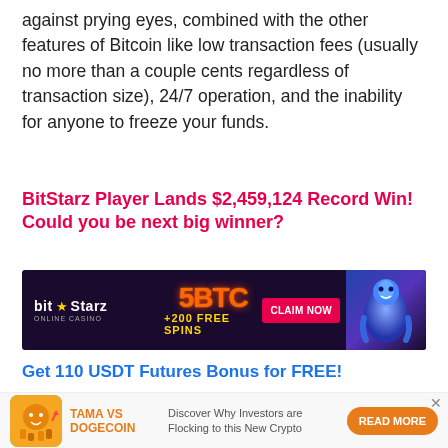against prying eyes, combined with the other features of Bitcoin like low transaction fees (usually no more than a couple cents regardless of transaction size), 24/7 operation, and the inability for anyone to freeze your funds.
BitStarz Player Lands $2,459,124 Record Win! Could you be next big winner?
[Figure (other): BitStarz Online Casino advertisement banner. Dark purple background with golden sparkles. Shows 'bit★Starz ONLINE CASINO' logo on left, '5BTC +200 FREE SPINS' in orange/yellow text in center, genie character on right, and 'CLAIM NOW' red button.]
Get 110 USDT Futures Bonus for FREE!
[Figure (other): Bottom advertisement bar: Tama vs Dogecoin crypto advertisement with orange dog/coin icon on left, 'TAMA VS DOGECOIN' in orange text, 'Discover Why Investors are Flocking to this New Crypto' description text, and orange 'READ MORE' pill button on right. X close button in top right.]